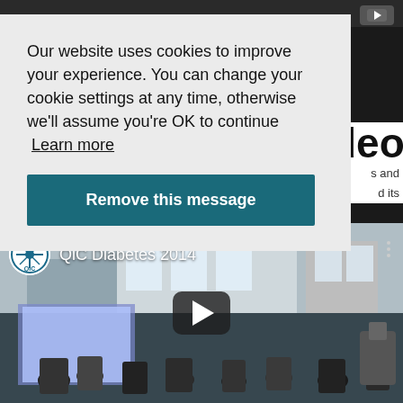Our website uses cookies to improve your experience. You can change your cookie settings at any time, otherwise we'll assume you're OK to continue  Learn more
Remove this message
deo
s and d its
[Figure (screenshot): YouTube video player thumbnail showing QiC Diabetes 2014 event with people in an atrium/conference venue. QiC logo visible top left, play button in center.]